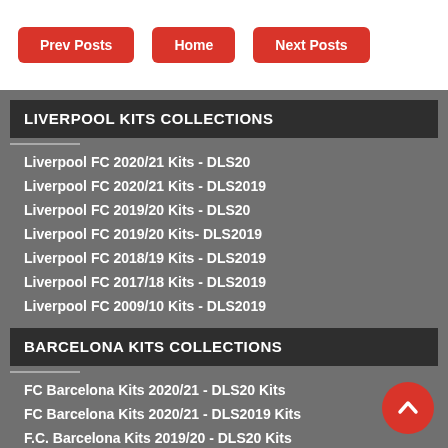Prev Posts | Home | Next Posts
LIVERPOOL KITS COLLECTIONS
Liverpool FC 2020/21 Kits - DLS20
Liverpool FC 2020/21 Kits - DLS2019
Liverpool FC 2019/20 Kits - DLS20
Liverpool FC 2019/20 Kits- DLS2019
Liverpool FC 2018/19 Kits - DLS2019
Liverpool FC 2017/18 Kits - DLS2019
Liverpool FC 2009/10 Kits - DLS2019
BARCELONA KITS COLLECTIONS
FC Barcelona Kits 2020/21 - DLS20 Kits
FC Barcelona Kits 2020/21 - DLS2019 Kits
F.C. Barcelona Kits 2019/20 - DLS20 Kits
Barcelona El Clasico Kits 2019
F.C. Barcelona 2019/2020 Nike Kit